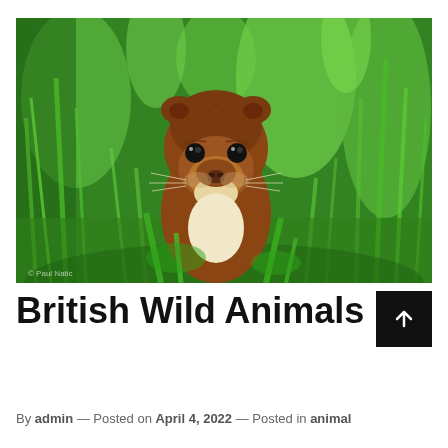[Figure (photo): Close-up photograph of a weasel with brown and white fur, looking at the camera, surrounded by bright green grass blades. Watermark text '© Paul Natio' visible in bottom left corner.]
British Wild Animals
By admin — Posted on April 4, 2022 — Posted in animal